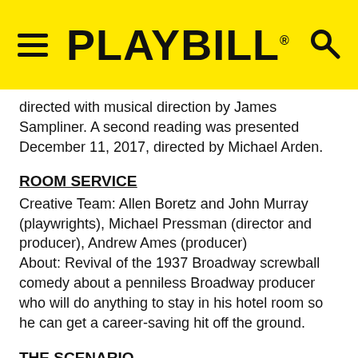PLAYBILL
directed with musical direction by James Sampliner. A second reading was presented December 11, 2017, directed by Michael Arden.
ROOM SERVICE
Creative Team: Allen Boretz and John Murray (playwrights), Michael Pressman (director and producer), Andrew Ames (producer)
About: Revival of the 1937 Broadway screwball comedy about a penniless Broadway producer who will do anything to stay in his hotel room so he can get a career-saving hit off the ground.
THE SCENARIO
Creative Team: Dan Charnas (book) with music and lyrics by multiple artists, Russell Simmons and Universal Music